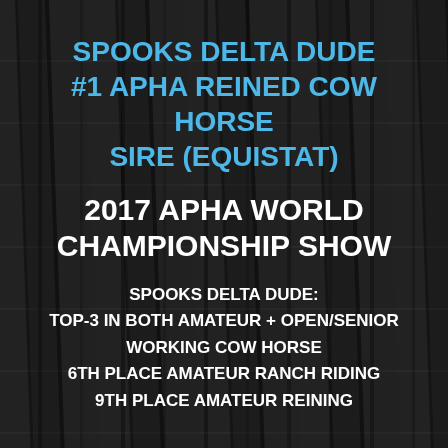SPOOKS DELTA DUDE #1 APHA REINED COW HORSE SIRE (Equistat)
2017 APHA WORLD CHAMPIONSHIP SHOW
SPOOKS DELTA DUDE: TOP-3 IN BOTH AMATEUR + OPEN/SENIOR WORKING COW HORSE 6TH PLACE AMATEUR RANCH RIDING 9TH PLACE AMATEUR REINING